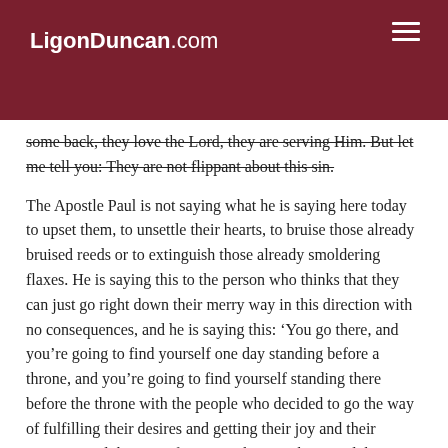LigonDuncan.com
some back, they love the Lord, they are serving Him. But let me tell you: They are not flippant about this sin.
The Apostle Paul is not saying what he is saying here today to upset them, to unsettle their hearts, to bruise those already bruised reeds or to extinguish those already smoldering flaxes. He is saying this to the person who thinks that they can just go right down their merry way in this direction with no consequences, and he is saying this: ‘You go there, and you’re going to find yourself one day standing before a throne, and you’re going to find yourself standing there before the throne with the people who decided to go the way of fulfilling their desires and getting their joy and their meaning and their satisfaction in the way that I said that I hate,